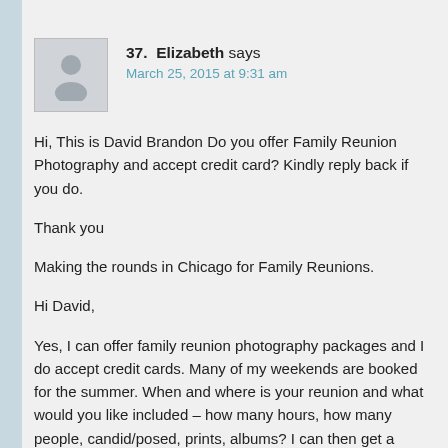37. Elizabeth says
March 25, 2015 at 9:31 am
Hi, This is David Brandon Do you offer Family Reunion Photography and accept credit card? Kindly reply back if you do.

Thank you

Making the rounds in Chicago for Family Reunions.

Hi David,

Yes, I can offer family reunion photography packages and I do accept credit cards. Many of my weekends are booked for the summer. When and where is your reunion and what would you like included – how many hours, how many people, candid/posed, prints, albums? I can then get a better idea for to provide a better for a better idea for you a